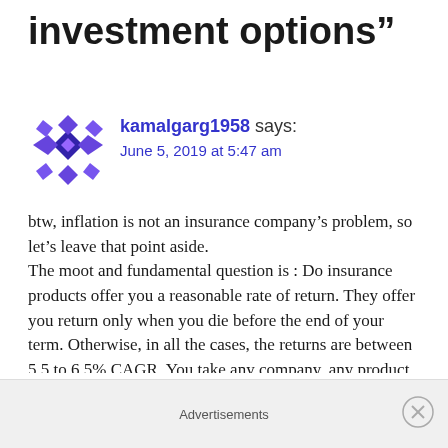investment options”
[Figure (illustration): Purple geometric/diamond pattern avatar icon for user kamalgarg1958]
kamalgarg1958 says:
June 5, 2019 at 5:47 am
btw, inflation is not an insurance company’s problem, so let’s leave that point aside.
The moot and fundamental question is : Do insurance products offer you a reasonable rate of return. They offer you return only when you die before the end of your term. Otherwise, in all the cases, the returns are between 5.5 to 6.5% CAGR. You take any company, any product, etc.
And that’s why, it is advisable to take simple term
Advertisements